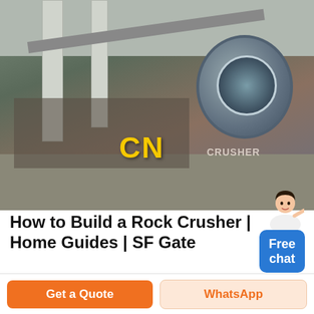[Figure (photo): Industrial rock crusher facility with large drum mill, conveyor belt, concrete pillars, and scaffolding. Yellow 'CN' logo text visible on the photo, with partially visible 'CRUSHER' text.]
How to Build a Rock Crusher | Home Guides | SF Gate
Jul 21, 2017· Center the 4-inch diameter pipe on the mark. Activate your arc welding torch, don you welder's mask, and weld the 4-inch pipe to the iron board. Let stand until cool to …